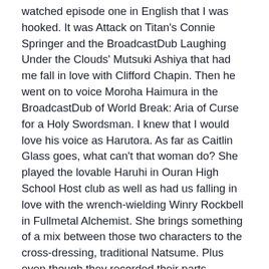watched episode one in English that I was hooked. It was Attack on Titan's Connie Springer and the BroadcastDub Laughing Under the Clouds' Mutsuki Ashiya that had me fall in love with Clifford Chapin. Then he went on to voice Moroha Haimura in the BroadcastDub of World Break: Aria of Curse for a Holy Swordsman. I knew that I would love his voice as Harutora. As far as Caitlin Glass goes, what can't that woman do? She played the lovable Haruhi in Ouran High School Host club as well as had us falling in love with the wrench-wielding Winry Rockbell in Fullmetal Alchemist. She brings something of a mix between those two characters to the cross-dressing, traditional Natsume. Plus even though they recorded their parts separately, there is a cute chemistry between Clifford and Caitlin that works for their respective characters.
When I saw that they brought in the big guns Ian Sinclair and J. Michael Tatum, I was sold. Ian Sinclair, if you read my VA Spotlight you'll understand why I was on board after his announcement, played the goofball chef Bardroy in Black Butler as well as the main protagonist in Hinata in Karaoke and I...